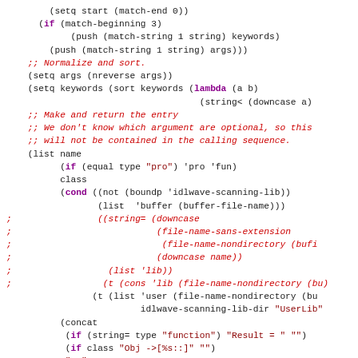Code snippet in Lisp/Emacs Lisp showing keyword parsing and list construction logic